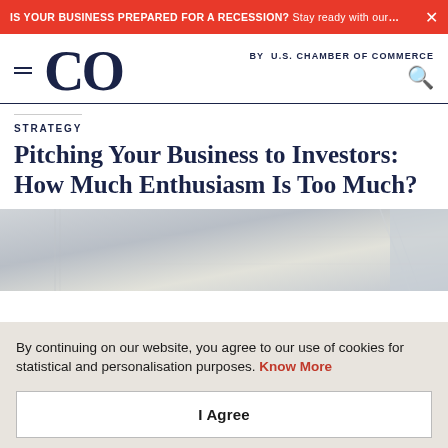IS YOUR BUSINESS PREPARED FOR A RECESSION? Stay ready with our small busin... ×
CO by U.S. CHAMBER OF COMMERCE
STRATEGY
Pitching Your Business to Investors: How Much Enthusiasm Is Too Much?
[Figure (photo): Interior office/building ceiling photo, light tones]
By continuing on our website, you agree to our use of cookies for statistical and personalisation purposes. Know More
I Agree